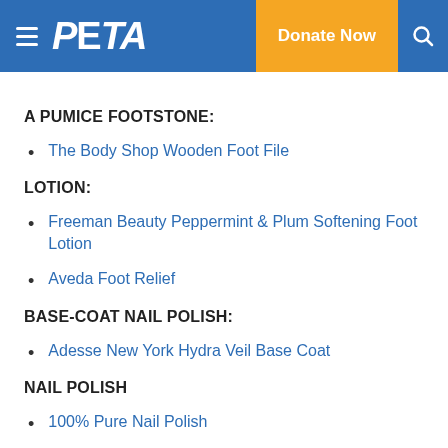PETA — Donate Now
A PUMICE FOOTSTONE:
The Body Shop Wooden Foot File
LOTION:
Freeman Beauty Peppermint & Plum Softening Foot Lotion
Aveda Foot Relief
BASE-COAT NAIL POLISH:
Adesse New York Hydra Veil Base Coat
NAIL POLISH
100% Pure Nail Polish